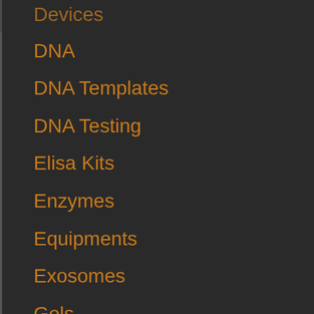Devices
DNA
DNA Templates
DNA Testing
Elisa Kits
Enzymes
Equipments
Exosomes
Gels
Isotypes